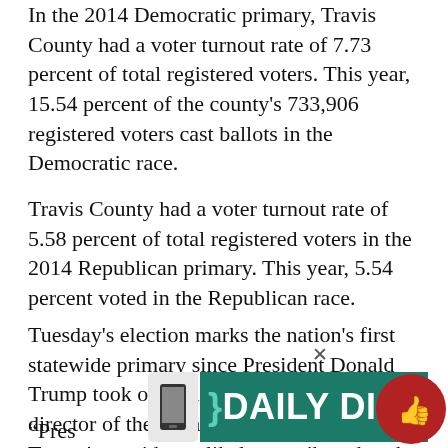In the 2014 Democratic primary, Travis County had a voter turnout rate of 7.73 percent of total registered voters. This year, 15.54 percent of the county's 733,906 registered voters cast ballots in the Democratic race.
Travis County had a voter turnout rate of 5.58 percent of total registered voters in the 2014 Republican primary. This year, 5.54 percent voted in the Republican race.
Tuesday's election marks the nation's first statewide primary since President Donald Trump took office last year. Jim Henson, director of the Texas Politics Project, said Trump's presidency likely contributed to the surge in Democratic turnout in the 2018 Texas primary.
“Pres
[Figure (other): Daily Digest banner overlay with teal/green background, white bold text reading DAILY DIGEST with a bracket icon, and a red circular thumbs-up button on the right]